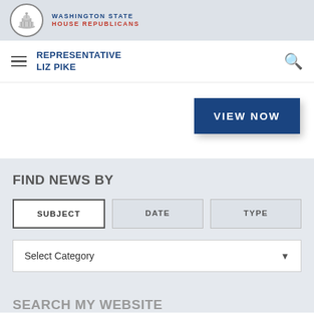WASHINGTON STATE HOUSE REPUBLICANS
REPRESENTATIVE LIZ PIKE
[Figure (other): VIEW NOW button (dark navy blue)]
FIND NEWS BY
SUBJECT | DATE | TYPE tabs
Select Category dropdown
SEARCH MY WEBSITE